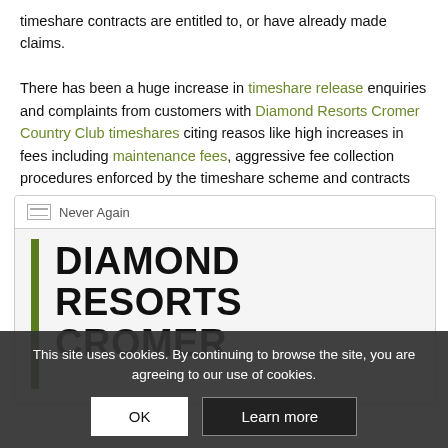timeshare contracts are entitled to, or have already made claims.

There has been a huge increase in timeshare release enquiries and complaints from customers with Diamond Resorts Cromer Country Club timeshares citing reasos like high increases in fees including maintenance fees, aggressive fee collection procedures enforced by the timeshare scheme and contracts committing owners to timeshare contracts in perpetuity"
[Figure (screenshot): A card/widget showing 'Never Again' header with icon, followed by large bold text 'DIAMOND RESORTS CROMER' with a green vertical bar accent, and partially visible text below.]
This site uses cookies. By continuing to browse the site, you are agreeing to our use of cookies.